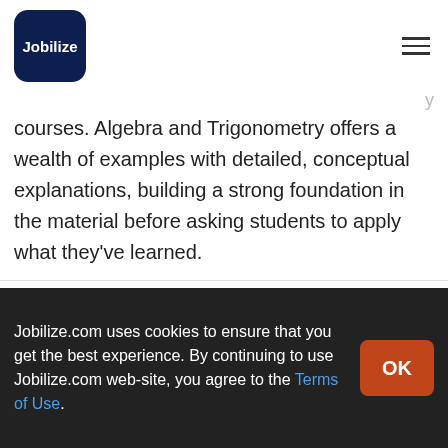Jobilize
courses. Algebra and Trigonometry offers a wealth of examples with detailed, conceptual explanations, building a strong foundation in the material before asking students to apply what they've learned.
[Figure (screenshot): Google Play Store badge with 'GET IT ON Google Play' text and Google Play triangle logo on black background]
Jobilize.com uses cookies to ensure that you get the best experience. By continuing to use Jobilize.com web-site, you agree to the Terms of Use.